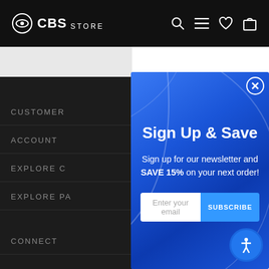[Figure (screenshot): CBS Store website header with black background, CBS logo on left, search/menu/heart/cart icons on right]
CUSTOMER
ACCOUNT
EXPLORE C
EXPLORE PA
CONNECT
Sign Up & Save
Sign up for our newsletter and SAVE 15% on your next order!